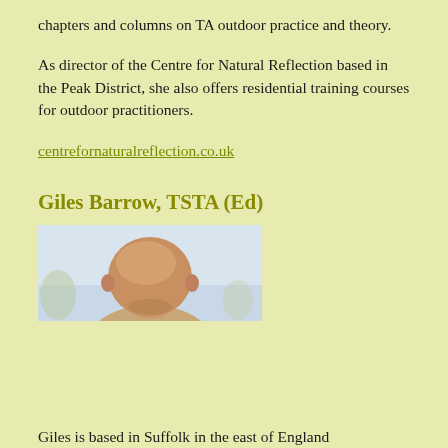chapters and columns on TA outdoor practice and theory.
As director of the Centre for Natural Reflection based in the Peak District, she also offers residential training courses for outdoor practitioners.
centrefornaturalreflection.co.uk
Giles Barrow, TSTA (Ed)
[Figure (photo): Headshot photo of Giles Barrow, a bald man photographed from above/side against a light sky background]
Giles is based in Suffolk in the east of England